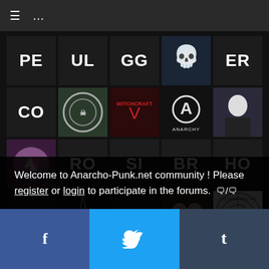≡  ···
[Figure (screenshot): Grid of user avatars on Anarcho-Punk.net community page showing profile pictures and letter abbreviations: PE, UL, GG, skull image, ER, CO, circle logo, Witchcraft logo, anarchy symbol, portrait, pony image, RO, SI, BR, HO, ZA, smoker image, RE, couple image, target image, XJ, bearded man, woman image, AM, JO, and partial row: CE, MO, CC, ZA, bald man]
Welcome to Anarcho-Punk.net community ! Please register or login to participate in the forums. 🗨/🗨
f  Twitter bird  t